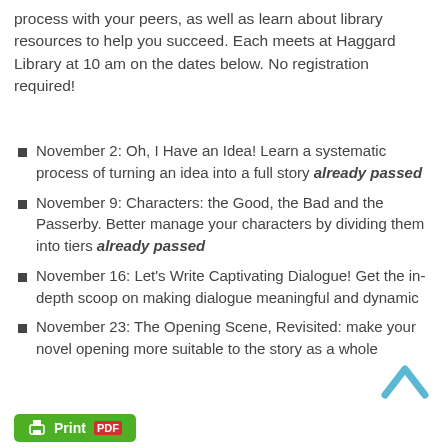process with your peers, as well as learn about library resources to help you succeed. Each meets at Haggard Library at 10 am on the dates below. No registration required!
November 2: Oh, I Have an Idea! Learn a systematic process of turning an idea into a full story already passed
November 9: Characters: the Good, the Bad and the Passerby. Better manage your characters by dividing them into tiers already passed
November 16: Let’s Write Captivating Dialogue! Get the in-depth scoop on making dialogue meaningful and dynamic
November 23: The Opening Scene, Revisited: make your novel opening more suitable to the story as a whole